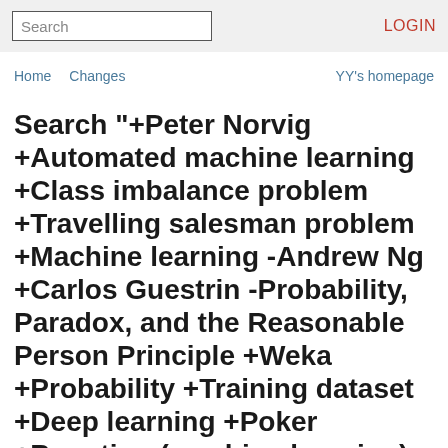Search  LOGIN
Home  Changes  YY's homepage
Search "+Peter Norvig +Automated machine learning +Class imbalance problem +Travelling salesman problem +Machine learning -Andrew Ng +Carlos Guestrin -Probability, Paradox, and the Reasonable Person Principle +Weka +Probability +Training dataset +Deep learning +Poker +Boosting (machine learning) -Privacy and Deanonymization"